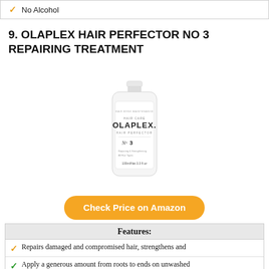No Alcohol
9. OLAPLEX HAIR PERFECTOR NO 3 REPAIRING TREATMENT
[Figure (photo): White bottle of Olaplex Hair Perfector No 3, 100ml/Net 3.3 fl oz, with push-cap lid]
Check Price on Amazon
| Features: |
| --- |
| Repairs damaged and compromised hair, strengthens and... |
| Apply a generous amount from roots to ends on unwashed... |
| Healthy hair |